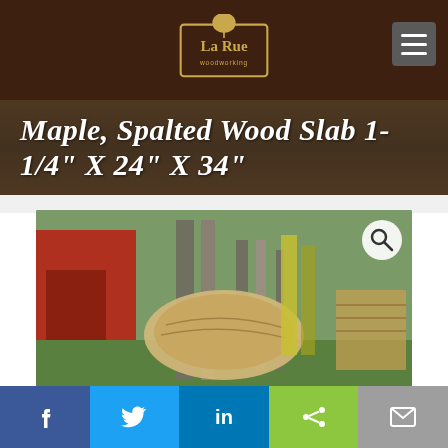La Rue Woodworking
Maple, Spalted Wood Slab 1-1/4" X 24" X 34"
[Figure (photo): Photo of a spalted maple wood slab placed on a forklift in an outdoor yard, with a red barn and orange flowers in the background. A large red 'SOLD' text is overlaid on the image. A search/zoom icon appears in the top right corner of the image.]
Social share bar with Facebook, Twitter, LinkedIn, Share, and Email buttons